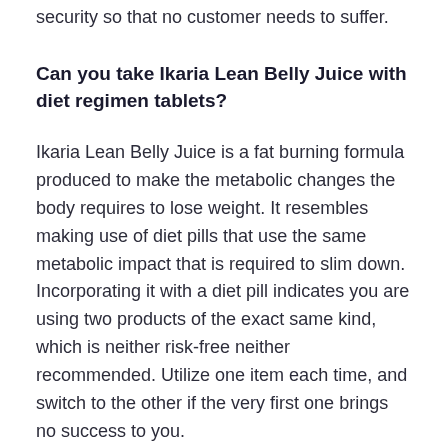to be testing for top quality as well as safety and security so that no customer needs to suffer.
Can you take Ikaria Lean Belly Juice with diet regimen tablets?
Ikaria Lean Belly Juice is a fat burning formula produced to make the metabolic changes the body requires to lose weight. It resembles making use of diet pills that use the same metabolic impact that is required to slim down. Incorporating it with a diet pill indicates you are using two products of the exact same kind, which is neither risk-free neither recommended. Utilize one item each time, and switch to the other if the very first one brings no success to you.